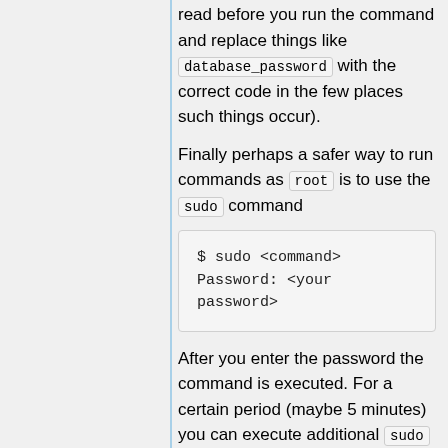read before you run the command and replace things like database_password with the correct code in the few places such things occur).
Finally perhaps a safer way to run commands as root is to use the sudo command
$ sudo <command>
Password: <your password>
After you enter the password the command is executed. For a certain period (maybe 5 minutes) you can execute additional sudo commands without reentering <your password>. A log of all